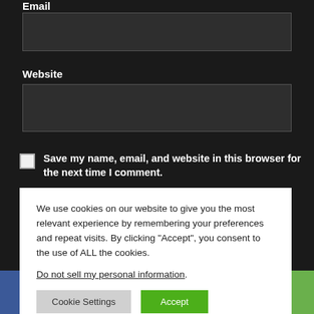Email
[Figure (screenshot): Dark input field for Email]
Website
[Figure (screenshot): Dark input field for Website]
Save my name, email, and website in this browser for the next time I comment.
We use cookies on our website to give you the most relevant experience by remembering your preferences and repeat visits. By clicking “Accept”, you consent to the use of ALL the cookies.
Do not sell my personal information.
[Figure (screenshot): Cookie consent popup with Cookie Settings and Accept buttons and social share bar at bottom]